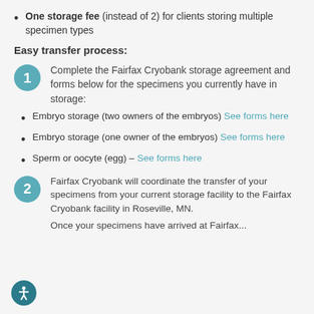One storage fee (instead of 2) for clients storing multiple specimen types
Easy transfer process:
Complete the Fairfax Cryobank storage agreement and forms below for the specimens you currently have in storage:
Embryo storage (two owners of the embryos) See forms here
Embryo storage (one owner of the embryos) See forms here
Sperm or oocyte (egg)  – See forms here
Fairfax Cryobank will coordinate the transfer of your specimens from your current storage facility to the Fairfax Cryobank facility in Roseville, MN.
Once your specimens have arrived at Fairfax...